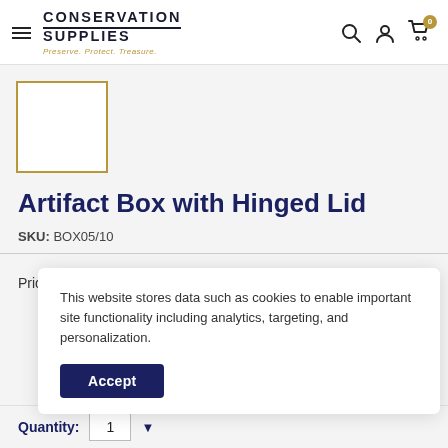CONSERVATION SUPPLIES — Preserve. Protect. Treasure.
[Figure (photo): Product thumbnail placeholder with gold border on light gray background]
Artifact Box with Hinged Lid
SKU: BOX05/10
Price: $24.50
This website stores data such as cookies to enable important site functionality including analytics, targeting, and personalization.
Accept
Quantity: 1